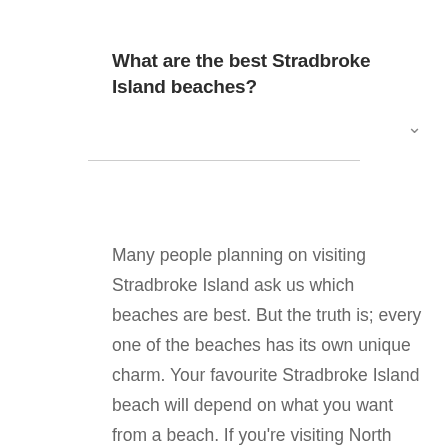What are the best Stradbroke Island beaches?
Many people planning on visiting Stradbroke Island ask us which beaches are best. But the truth is; every one of the beaches has its own unique charm. Your favourite Stradbroke Island beach will depend on what you want from a beach. If you're visiting North Stradbroke Island, for example, then Adam's Beach might appeal, with a long stretch of golden sand and clear waters. Or you may...